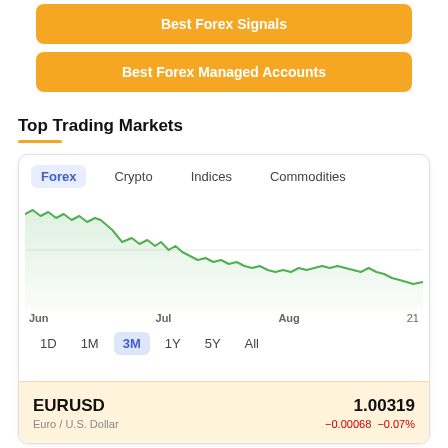[Figure (other): Orange button: Best Forex Signals]
[Figure (other): Orange button: Best Forex Managed Accounts]
Top Trading Markets
[Figure (continuous-plot): EUR/USD line chart showing 3-month price decline from approximately 1.085 in late May/early June down to around 1.003 by late August, with x-axis labels Jun, Jul, Aug, 21 and time period buttons 1D, 1M, 3M (selected), 1Y, 5Y, All. Market tabs: Forex (active), Crypto, Indices, Commodities.]
EURUSD 1.00319 Euro / U.S. Dollar −0.00068 −0.07%